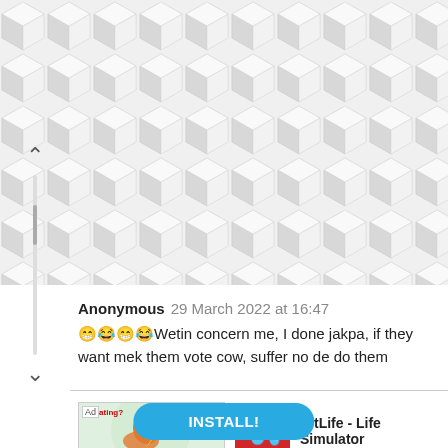[Figure (illustration): 3D hexagonal tile/cube pattern background in light gray and white, spanning the upper portion of the page]
Anonymous  29 March 2022 at 16:47
😁😂😁😂Wetin concern me, I done jakpa, if they want mek them vote cow, suffer no de do them
[Figure (illustration): Advertisement banner: left side shows a stylized arm flexing with 'Cheating?' text and BitLife branding; right side shows BitLife red app icon with sperm logo]
BitLife - Life Simulator
INSTALL!